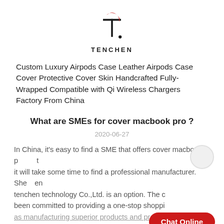[Figure (logo): TENCHEN logo: stylized letter T with red top arc and black body, followed by a period, above the text TENCHEN in bold capitals]
Custom Luxury Airpods Case Leather Airpods Case Cover Protective Cover Skin Handcrafted Fully-Wrapped Compatible with Qi Wireless Chargers Factory From China
What are SMEs for cover macbook pro ?
2020-06-27
In China, it's easy to find a SME that offers cover macbook pro, but it will take some time to find a professional manufacturer. Shenzhen tenchen technology Co.,Ltd. is an option. The company has been committed to providing a one-stop shopping... as manufacturing superior products and providing customers with